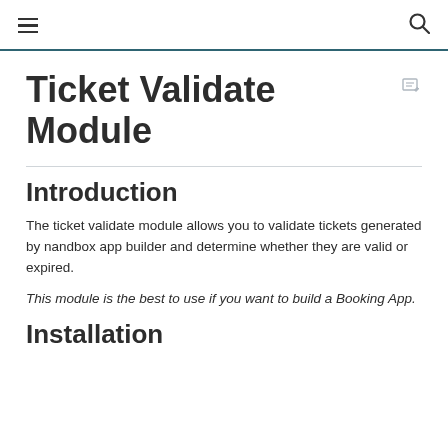≡  🔍
Ticket Validate Module
Introduction
The ticket validate module allows you to validate tickets generated by nandbox app builder and determine whether they are valid or expired.
This module is the best to use if you want to build a Booking App.
Installation